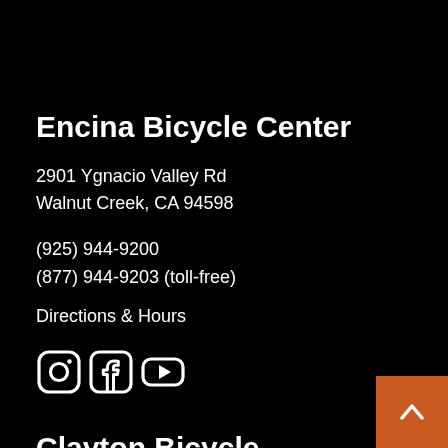Encina Bicycle Center
2901 Ygnacio Valley Rd
Walnut Creek, CA 94598
(925) 944-9200
(877) 944-9203 (toll-free)
Directions & Hours
[Figure (illustration): Social media icons: Instagram, Facebook, YouTube]
Clayton Bicycle Center